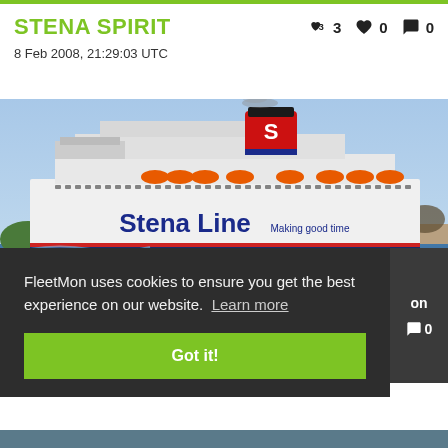STENA SPIRIT
👍 3   ❤ 0   💬 0
8 Feb 2008, 21:29:03 UTC
[Figure (photo): Large Stena Line ferry (Stena Spirit) sailing on open water with a red funnel bearing the white 'S' logo. Multiple orange lifeboats visible along the upper deck. The hull is white with 'Stena Line' branding in large blue letters.]
FleetMon uses cookies to ensure you get the best experience on our website. Learn more
Got it!
on
💬 0